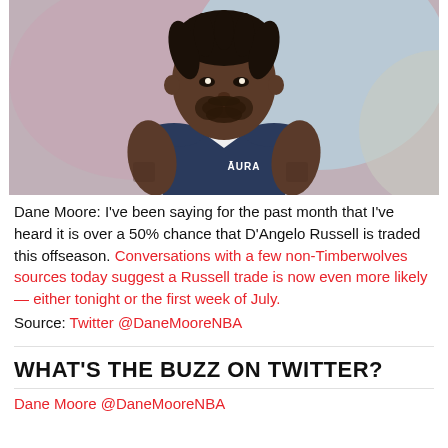[Figure (photo): D'Angelo Russell NBA player photo in Timberwolves jersey with AURA sponsor logo, blurred colorful background]
Dane Moore: I've been saying for the past month that I've heard it is over a 50% chance that D'Angelo Russell is traded this offseason. Conversations with a few non-Timberwolves sources today suggest a Russell trade is now even more likely — either tonight or the first week of July.
Source: Twitter @DaneMooreNBA
WHAT'S THE BUZZ ON TWITTER?
Dane Moore @DaneMooreNBA